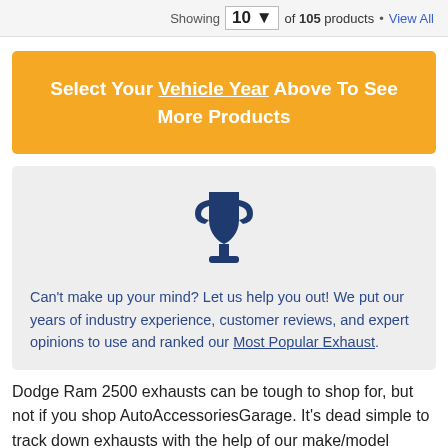Showing 10 of 105 products • View All
Select Your Vehicle Year Above To See More Products
[Figure (illustration): Trophy icon in dark navy blue]
Can't make up your mind? Let us help you out! We put our years of industry experience, customer reviews, and expert opinions to use and ranked our Most Popular Exhaust.
Dodge Ram 2500 exhausts can be tough to shop for, but not if you shop AutoAccessoriesGarage. It's dead simple to track down exhausts with the help of our make/model